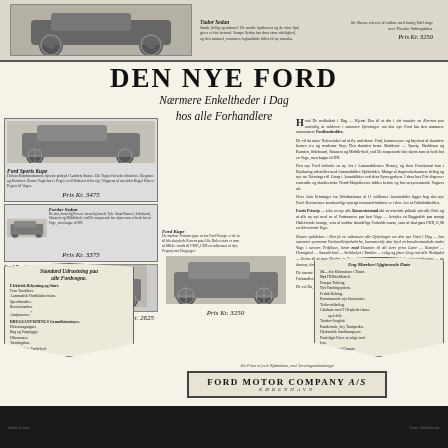[Figure (photo): Old Ford car photograph at top of page with price label]
Tudor Sedan
Pris Kr. 3250
DEN NYE FORD
Nærmere Enkeltheder i Dag hos alle Forhandlere
[Figure (photo): Ford Sports Kupe car illustration]
Ford Sports Kupe
Pris Kr. 3475
[Figure (photo): Fordor Sedan car illustration]
Fordor Sedan
Pris Kr. 3375
[Figure (photo): Ford Roadster car illustration]
Ford Roadster
Pris Kr. 2625
Body text about Den Nye Ford in Danish
[Figure (photo): Ford Kupe car illustration]
Ford Kupe
Pris Kr. 3250
Standard Udrustning paa alle Fordvogne.
Eng Mærker/Afgjørende Data
Alle Priser er f.o.b. Kjøbenhavn, excl. Leveringsomkostninger
FORD MOTOR COMPANY A/S
KØBENHAVN